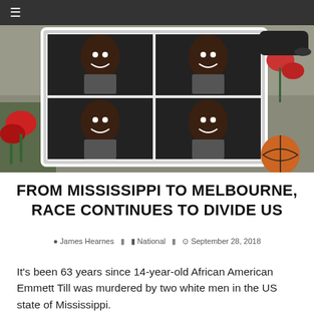≡
[Figure (photo): A framed photo collage showing multiple portraits of a young African man smiling, surrounded by red roses, a basketball, and a shoe, placed as a memorial tribute.]
FROM MISSISSIPPI TO MELBOURNE, RACE CONTINUES TO DIVIDE US
James Hearnes   National   September 28, 2018
It's been 63 years since 14-year-old African American Emmett Till was murdered by two white men in the US state of Mississippi.